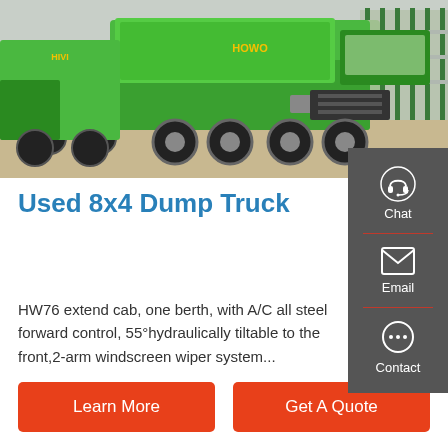[Figure (photo): Photo of green dump trucks (8x4 wheel configuration) parked in a yard with a metal fence in background]
Used 8x4 Dump Truck
HW76 extend cab, one berth, with A/C all steel forward control, 55°hydraulically tiltable to the front,2-arm windscreen wiper system...
Chat
Email
Contact
Learn More
Get A Quote